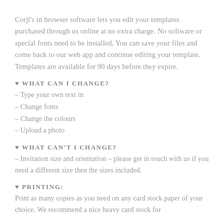Corjl's in browser software lets you edit your templates purchased through us online at no extra charge. No software or special fonts need to be installed. You can save your files and come back to our web app and continue editing your template. Templates are available for 90 days before they expire.
♥ WHAT CAN I CHANGE?
– Type your own text in
– Change fonts
– Change the colours
– Upload a photo
♥ WHAT CAN'T I CHANGE?
– Invitation size and orientation – please get in touch with us if you need a different size then the sizes included.
♥ PRINTING:
Print as many copies as you need on any card stock paper of your choice. We recommend a nice heavy card stock for